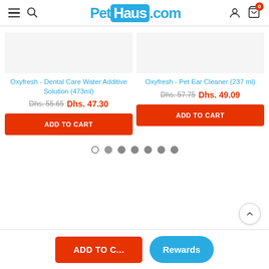PetHaus.com
Oxyfresh - Dental Care Water Additive Solution (473ml)
Dhs. 55.65  Dhs. 47.30
ADD TO CART
Oxyfresh - Pet Ear Cleaner (237 ml)
Dhs. 57.75  Dhs. 49.09
ADD TO CART
ADD TO C...
Rewards